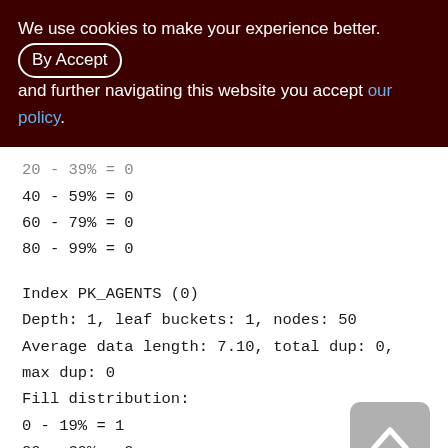We use cookies to make your experience better. By accepting and further navigating this website you accept our policy.
20 - 39% = 0
40 - 59% = 0
60 - 79% = 0
80 - 99% = 0
Index PK_AGENTS (0)
Depth: 1, leaf buckets: 1, nodes: 50
Average data length: 7.10, total dup: 0, max dup: 0
Fill distribution:
0 - 19% = 1
20 - 39% = 0
40 - 59% = 0